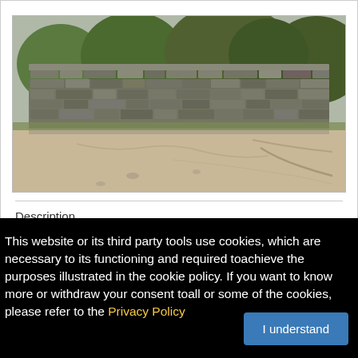[Figure (photo): Outdoor photo showing a stone wall made of stacked dry stones in the upper portion, with a dirt/sandy road or ground in the foreground. Vegetation and trees visible behind the stone wall.]
Description
Building plot for sale in big village (ID: 3300)
District: Yambol
This website or its third party tools use cookies, which are necessary to its functioning and required toachieve the purposes illustrated in the cookie policy. If you want to know more or withdraw your consent toall or some of the cookies, please refer to the Privacy Policy